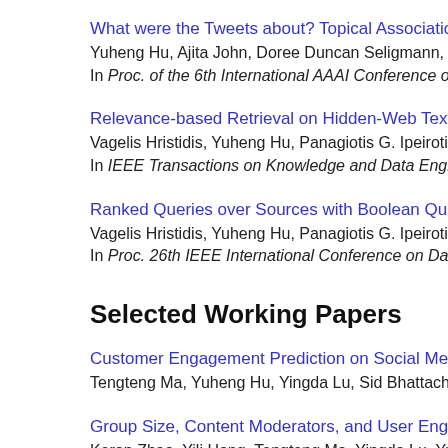What were the Tweets about? Topical Associations betwe...
Yuheng Hu, Ajita John, Doree Duncan Seligmann, Fei War...
In Proc. of the 6th International AAAI Conference on Weblo...
Relevance-based Retrieval on Hidden-Web Text Databases
Vagelis Hristidis, Yuheng Hu, Panagiotis G. Ipeirotis
In IEEE Transactions on Knowledge and Data Engineering (
Ranked Queries over Sources with Boolean Query Interfac...
Vagelis Hristidis, Yuheng Hu, Panagiotis G. Ipeirotis
In Proc. 26th IEEE International Conference on Data Engine...
Selected Working Papers
Customer Engagement Prediction on Social Media: A Grap...
Tengteng Ma, Yuheng Hu, Yingda Lu, Sid Bhattacharyya
Group Size, Content Moderators, and User Engagement in...
Keran Zhao, Yili Hong, Tengteng Ma, Yingda Lu, Yuheng H...
Everyone Can Be a Star: Understanding the Role of Live Vi...